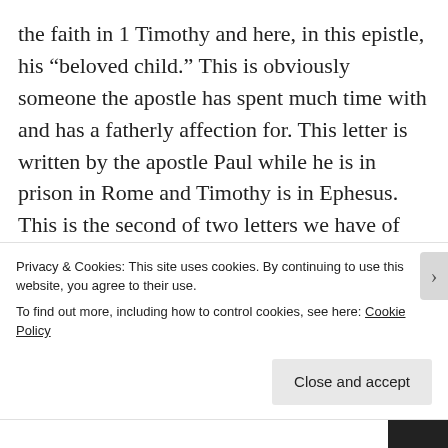the faith in 1 Timothy and here, in this epistle, his “beloved child.” This is obviously someone the apostle has spent much time with and has a fatherly affection for. This letter is written by the apostle Paul while he is in prison in Rome and Timothy is in Ephesus. This is the second of two letters we have of Paul writing Timothy. The first addresses false teaching and holy living brought about by the true gospel. This second letter focuses on persevering through suffering, while it still addresses false teaching
Privacy & Cookies: This site uses cookies. By continuing to use this website, you agree to their use.
To find out more, including how to control cookies, see here: Cookie Policy